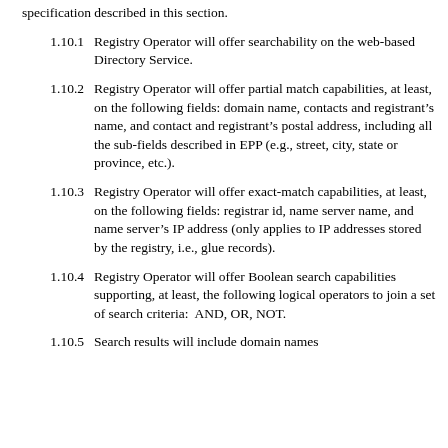specification described in this section.
1.10.1 Registry Operator will offer searchability on the web-based Directory Service.
1.10.2 Registry Operator will offer partial match capabilities, at least, on the following fields: domain name, contacts and registrant’s name, and contact and registrant’s postal address, including all the sub-fields described in EPP (e.g., street, city, state or province, etc.).
1.10.3 Registry Operator will offer exact-match capabilities, at least, on the following fields: registrar id, name server name, and name server’s IP address (only applies to IP addresses stored by the registry, i.e., glue records).
1.10.4 Registry Operator will offer Boolean search capabilities supporting, at least, the following logical operators to join a set of search criteria:  AND, OR, NOT.
1.10.5 Search results will include domain names